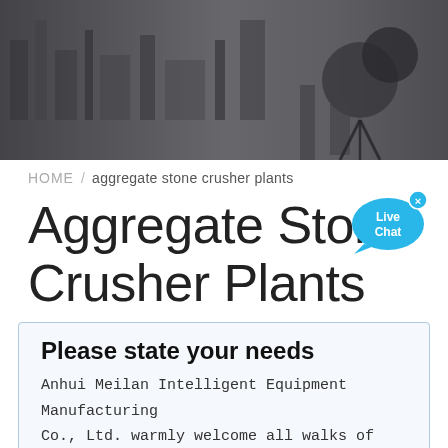[Figure (photo): Hero banner photo of industrial manufacturing facility with machinery and equipment, dark overlay]
HOME / aggregate stone crusher plants
Aggregate Stone Crusher Plants
[Figure (infographic): Live Chat bubble icon in cyan/blue color with 'Live Chat' text and an X close button]
Please state your needs
Anhui Meilan Intelligent Equipment Manufacturing Co., Ltd. warmly welcome all walks of life to contact us, we are waiting for your inquiry all day!
Name:* Such as: potter